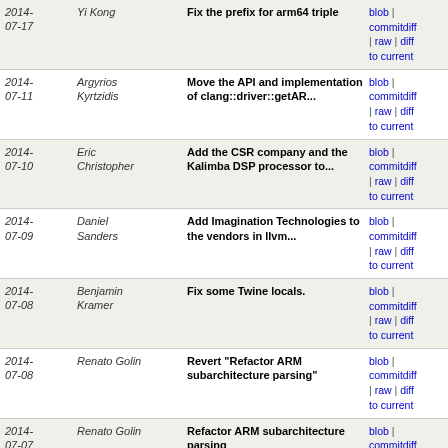| Date | Author | Subject | Links |
| --- | --- | --- | --- |
| 2014-07-17 | Yi Kong | Fix the prefix for arm64 triple | blob | commitdiff | raw | diff to current |
| 2014-07-11 | Argyrios Kyrtzidis | Move the API and implementation of clang::driver::getAR... | blob | commitdiff | raw | diff to current |
| 2014-07-10 | Eric Christopher | Add the CSR company and the Kalimba DSP processor to... | blob | commitdiff | raw | diff to current |
| 2014-07-09 | Daniel Sanders | Add Imagination Technologies to the vendors in llvm... | blob | commitdiff | raw | diff to current |
| 2014-07-08 | Benjamin Kramer | Fix some Twine locals. | blob | commitdiff | raw | diff to current |
| 2014-07-08 | Renato Golin | Revert "Refactor ARM subarchitecture parsing" | blob | commitdiff | raw | diff to current |
| 2014-07-07 | Renato Golin | Refactor ARM subarchitecture parsing | blob | commitdiff | raw | diff to current |
| 2014-04-14 | James Molloy | [ARM64] Add big endian target arm64_be. | blob | commitdiff | raw | diff to current |
| 2014-04-07 | Craig Topper | [C++11] Make use of 'nullptr' in the Support library. | blob | commitdiff | raw | diff to current |
| 2014-03-31 | Saleem Abdulrasool | Support: generalise object type handling for Windows | blob | commitdiff | raw | diff to current |
| 2014- | Tim Northover | ARM64: remove -m32/-m64 mapping | blob | |